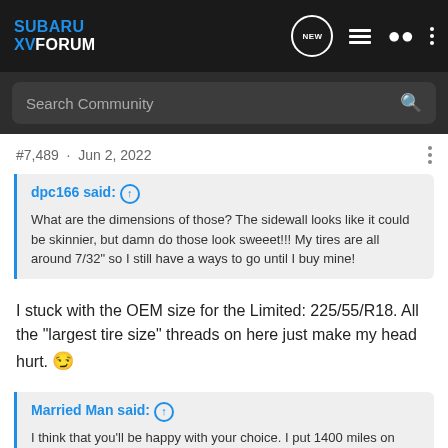SUBARU XV FORUM
Search Community
#7,489 · Jun 2, 2022
dpc166 said: ↑ What are the dimensions of those? The sidewall looks like it could be skinnier, but damn do those look sweeet!!! My tires are all around 7/32" so I still have a ways to go until I buy mine!
I stuck with the OEM size for the Limited: 225/55/R18. All the "largest tire size" threads on here just make my head hurt. 😏
Married Man said: ↑ I think that you'll be happy with your choice. I put 1400 miles on mine in the 2 weeks that I've owned them. They replaced the Yokohama touring tire. Except for losing a couple of mpg, I find that they do a